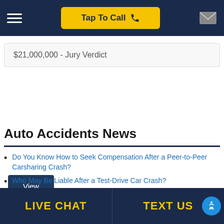Tap To Call
$21,000,000 - Jury Verdict
View more results
Auto Accidents News
Do You Know How to Seek Compensation After a Peer-to-Peer Carsharing Crash?
Who May Be Liable After a Test-Drive Car Crash?
Why Jaw and Ear Pain After a Crash Could Indicate a Severe Injury
Why Highway Hypnosis Increases the Risk of a Car Crash
Car Crash Risks for Pedestrians During Florida Summers
What You Need to Know Before Your Car Accident Claim Deposition
LIVE CHAT   TEXT US